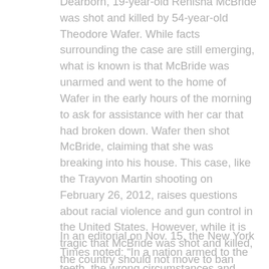Dearborn, 19-year-old Renisha McBride was shot and killed by 54-year-old Theodore Wafer. While facts surrounding the case are still emerging, what is known is that McBride was unarmed and went to the home of Wafer in the early hours of the morning to ask for assistance with her car that had broken down. Wafer then shot McBride, claiming that she was breaking into his house. This case, like the Trayvon Martin shooting on February 26, 2012, raises questions about racial violence and gun control in the United States. However, while it is tragic that McBride was shot and killed, the country should not move to ban guns just because people like Wafer decide to shoot before they think.
In an editorial on Nov. 15, the New York Times noted: “In a nation armed to the teeth, the wrong circumstances and